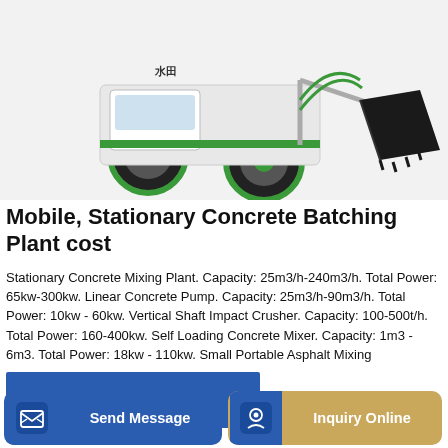[Figure (photo): Self-loading concrete mixer truck with green wheels and black front bucket, white/green body, on white background]
Mobile, Stationary Concrete Batching Plant cost
Stationary Concrete Mixing Plant. Capacity: 25m3/h-240m3/h. Total Power: 65kw-300kw. Linear Concrete Pump. Capacity: 25m3/h-90m3/h. Total Power: 10kw - 60kw. Vertical Shaft Impact Crusher. Capacity: 100-500t/h. Total Power: 160-400kw. Self Loading Concrete Mixer. Capacity: 1m3 - 6m3. Total Power: 18kw - 110kw. Small Portable Asphalt Mixing
GET A QUOTE
[Figure (photo): Aerial view of a concrete batching plant facility]
Send Message
Inquiry Online